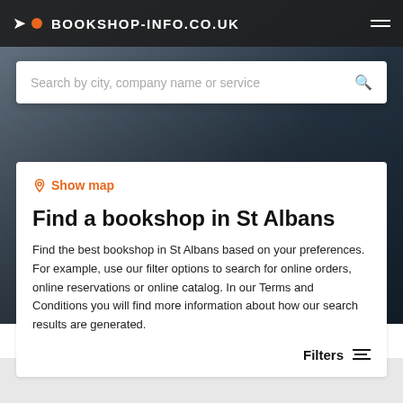BOOKSHOP-INFO.CO.UK
Search by city, company name or service
Show map
Find a bookshop in St Albans
Find the best bookshop in St Albans based on your preferences. For example, use our filter options to search for online orders, online reservations or online catalog. In our Terms and Conditions you will find more information about how our search results are generated.
Filters